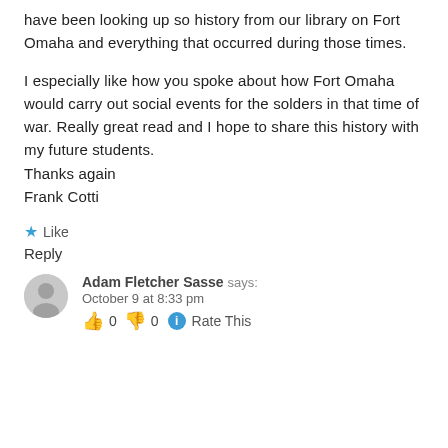have been looking up so history from our library on Fort Omaha and everything that occurred during those times.
I especially like how you spoke about how Fort Omaha would carry out social events for the solders in that time of war. Really great read and I hope to share this history with my future students. Thanks again
Frank Cotti
★ Like
Reply
Adam Fletcher Sasse says:
October 9 at 8:33 pm
👍 0 👎 0 ℹ Rate This